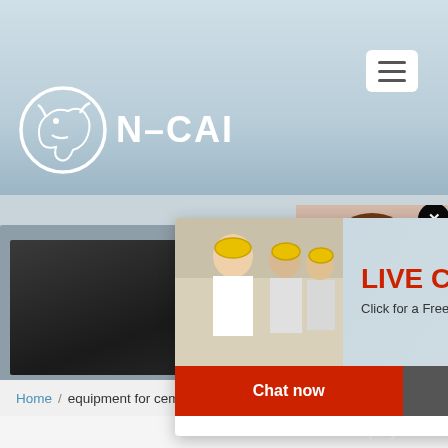[Figure (screenshot): N-CAI company website screenshot showing logo with circular icon and text N-CAI on light blue/grey background with hamburger menu icon]
[Figure (screenshot): Live chat popup overlay with construction workers photo, text LIVE CHAT Click for a Free Consultation, Chat now (red) and Chat later (dark) buttons]
[Figure (screenshot): Right sidebar panel showing female customer service agent with headset, text about requests, Quotation button, Enquiry text, and email limingjlmofen@sina.com]
Home / equipment for cement grinding plant